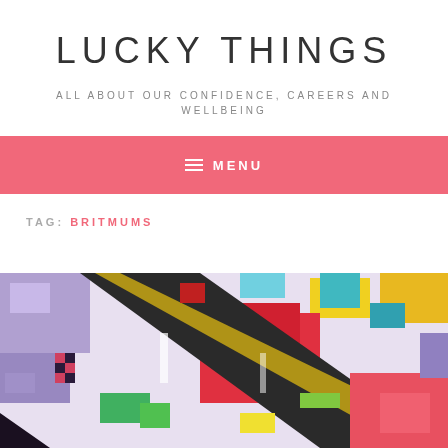LUCKY THINGS
ALL ABOUT OUR CONFIDENCE, CAREERS AND WELLBEING
≡ MENU
TAG: BRITMUMS
[Figure (illustration): Colorful abstract art image with geometric shapes, roads, and mixed urban/artistic elements in purple, red, yellow, green, blue and other colors]